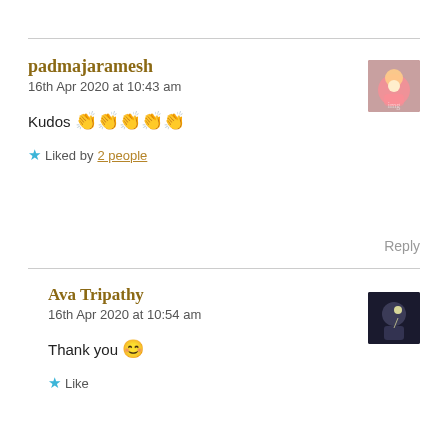padmajaramesh
16th Apr 2020 at 10:43 am
Kudos 👏👏👏👏👏
★ Liked by 2 people
Reply
Ava Tripathy
16th Apr 2020 at 10:54 am
Thank you 😊
★ Like